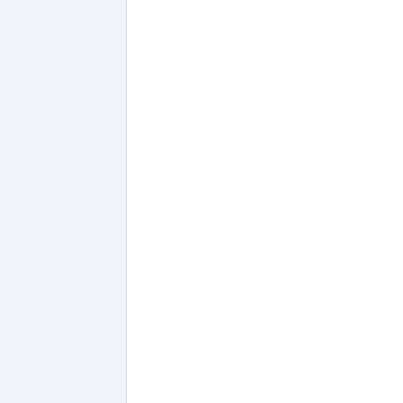proxy - e.g. http://wiki.nginx.org/HttpProxyModule - would scale better than FastCgi. This THttpServer class was defined to be not Windows-bound, so would work on Linux with minor modifications - it should be working with CrossKylix already. IOCP would be implemented at the main